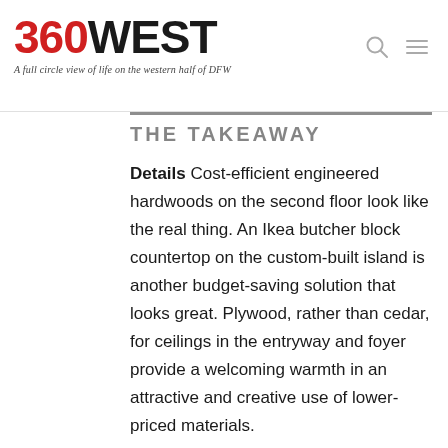360WEST — A full circle view of life on the western half of DFW
THE TAKEAWAY
Details Cost-efficient engineered hardwoods on the second floor look like the real thing. An Ikea butcher block countertop on the custom-built island is another budget-saving solution that looks great. Plywood, rather than cedar, for ceilings in the entryway and foyer provide a welcoming warmth in an attractive and creative use of lower-priced materials.
Design Windows judiciously placed throughout the house visually